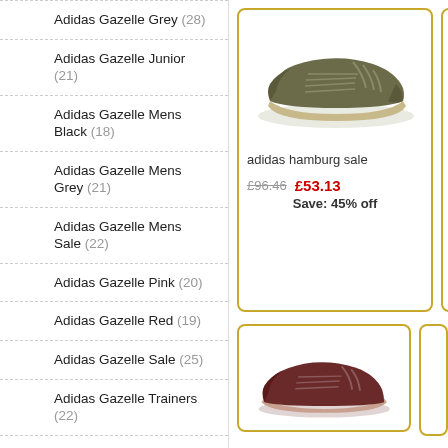Adidas Gazelle Grey (28)
Adidas Gazelle Junior (21)
Adidas Gazelle Mens Black (18)
Adidas Gazelle Mens Grey (21)
Adidas Gazelle Mens Sale (22)
Adidas Gazelle Pink (20)
Adidas Gazelle Red (19)
Adidas Gazelle Sale (25)
Adidas Gazelle Trainers (22)
Adidas Gazelle White (24)
Adidas Gazelle Womens Black (20)
Adidas Gazelle Womens Grey (23)
Adidas Gazelle Womens Pink (23)
Adidas Gazelle Womens Sale (21)
Adidas Hamburg (28)
Adidas Hamburg Sale (22)
[Figure (photo): Adidas Hamburg olive/khaki trainer shoe product image]
adidas hamburg sale
£96.46  £53.13  Save: 45% off
[Figure (photo): Adidas shoe product image (dark red/burgundy), partially visible]